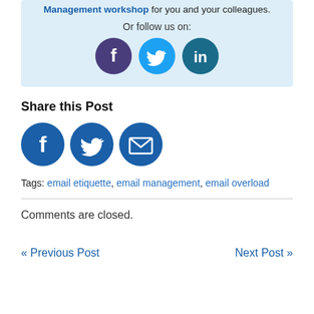copy of one of our books or let us run a Email Email Management workshop for you and your colleagues.
Or follow us on:
[Figure (infographic): Three social media icons: Facebook (dark purple circle), Twitter (cyan circle), LinkedIn (dark teal circle)]
Share this Post
[Figure (infographic): Three share icons: Facebook (dark blue circle), Twitter (dark blue circle), Email envelope (dark blue circle)]
Tags: email etiquette, email management, email overload
Comments are closed.
« Previous Post
Next Post »